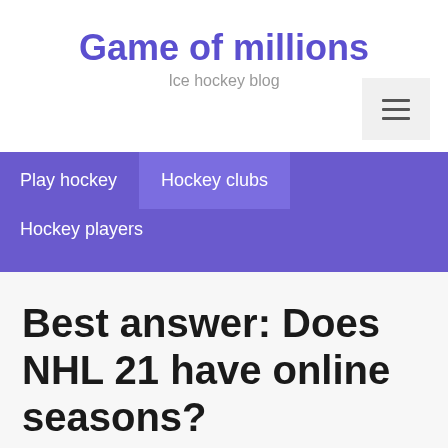Game of millions
Ice hockey blog
Play hockey
Hockey clubs
Hockey players
Best answer: Does NHL 21 have online seasons?